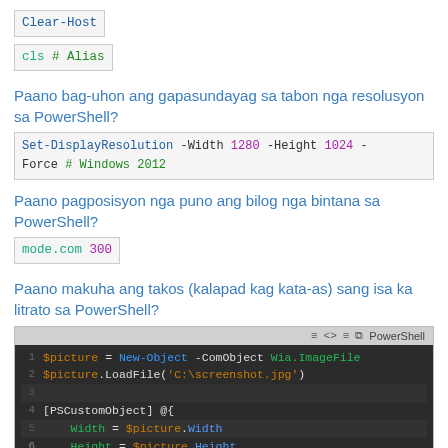Clear-Host
cls # Alias
Paano bag-uhon ang gapasundayag sa tabon nga resolusyon sa PowerShell?
Set-DisplayResolution -Width 1280 -Height 1024 -Force # Windows 2012
Paano pagposisyon nga puno ang bilog nga bintana sa PowerShell?
mode.com 300
Paano makuha ang takos (kalapad kag kata-as) sang isa ka litrato sa PowerShell?
[Figure (screenshot): PowerShell code panel showing: $picture = New-Object -ComObject Wia.ImageFile, $picture.LoadFile('C:\screenshot.jpg'), blank line 3, [PSCustomObject] @{, Width = $picture.Width, Height = $picture.Height (partial)]